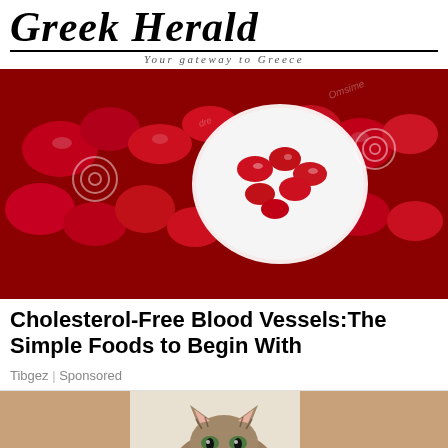Greek Herald
Your gateway to Greece
[Figure (photo): Close-up photo of red pomegranate seeds/arils in and around a white bowl, with watermark spirals overlay]
Cholesterol-Free Blood Vessels:The Simple Foods to Begin With
Tibgez | Sponsored
[Figure (photo): Photo of a tabby cat sitting between a person's legs, the person wearing black socks and pants, indoors]